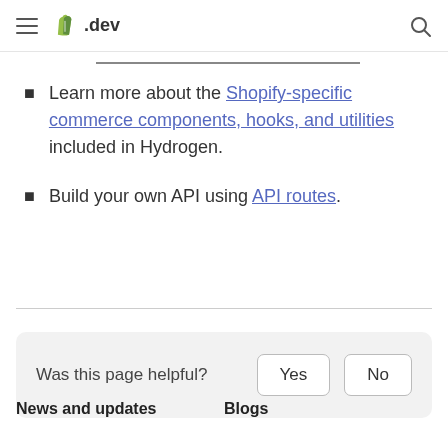.dev
Learn more about the Shopify-specific commerce components, hooks, and utilities included in Hydrogen.
Build your own API using API routes.
Was this page helpful? Yes No
News and updates
Blogs